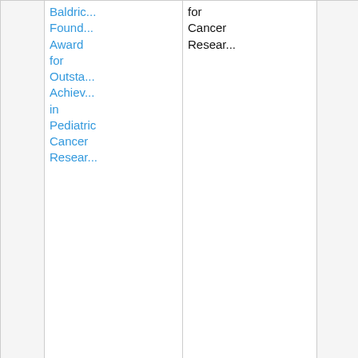|  | Baldric...
Found...
Award for Outsta...
Achiev...
in Pediatric Cancer Resear... | for
Cancer
Resear... |  | was
establi...
to bring
attenti...
to major
research
discov...
to the
pediatric
cancer
research
comm...
and to
honor an
individ...
in any
sector
who has
signific...
contrib...
to any
area of
pediatric
cancer
earc...
resulting
in the
funda...
impro... |